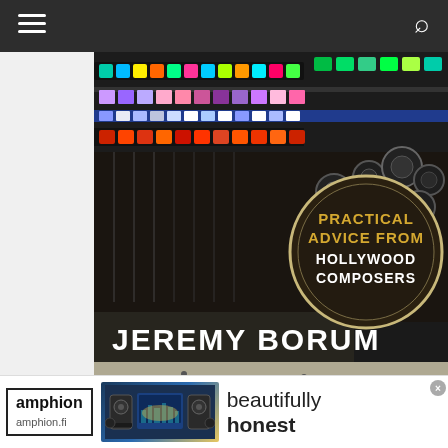Navigation bar with hamburger menu and search icon
[Figure (photo): Book cover for 'Practical Advice From Hollywood Composers' by Jeremy Borum — image of an audio mixing console with colorful lit buttons, with a circular badge overlay reading 'PRACTICAL ADVICE FROM HOLLYWOOD COMPOSERS' and the author name 'JEREMY BORUM' at the bottom on a dark banner, with sheet music at the very bottom]
Genuine Community and Networking Skills
Composing... ...st or
[Figure (screenshot): Advertisement banner for Amphion speakers — shows 'amphion' logo in a box, speaker product image, text 'beautifully honest', and URL 'amphion.fi']